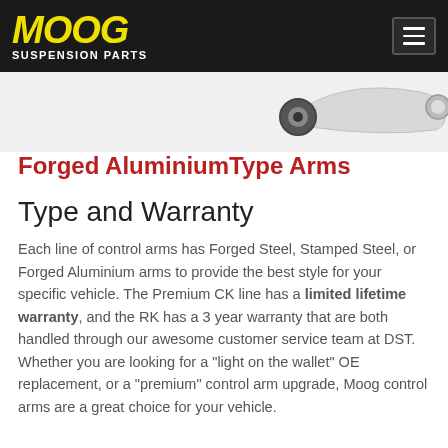MOOG SUSPENSION PARTS
[Figure (photo): Forged aluminium control arm suspension part, silver/white metallic, shown against light background in top-right area]
Forged AluminiumType Arms
Type and Warranty
Each line of control arms has Forged Steel, Stamped Steel, or Forged Aluminium arms to provide the best style for your specific vehicle. The Premium CK line has a limited lifetime warranty, and the RK has a 3 year warranty that are both handled through our awesome customer service team at DST. Whether you are looking for a "light on the wallet" OE replacement, or a "premium" control arm upgrade, Moog control arms are a great choice for your vehicle.